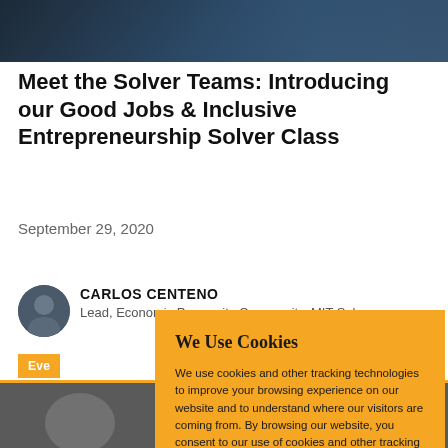[Figure (photo): Top banner photo showing people at an event, partially visible]
Meet the Solver Teams: Introducing our Good Jobs & Inclusive Entrepreneurship Solver Class
September 29, 2020
[Figure (photo): Circular avatar photo of Carlos Centeno]
CARLOS CENTENO
Lead, Economic Prosperity Community, MIT Solve
Eve
[Figure (photo): Bottom partial photo of people]
We Use Cookies

We use cookies and other tracking technologies to improve your browsing experience on our website and to understand where our visitors are coming from. By browsing our website, you consent to our use of cookies and other tracking technologies.

ACCEPT  REJECT